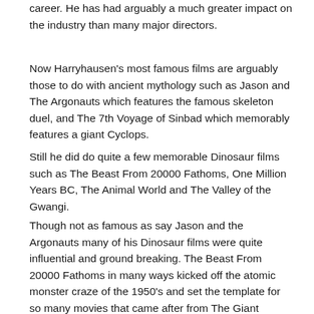career. He has had arguably a much greater impact on the industry than many major directors.
Now Harryhausen's most famous films are arguably those to do with ancient mythology such as Jason and The Argonauts which features the famous skeleton duel, and The 7th Voyage of Sinbad which memorably features a giant Cyclops.
Still he did do quite a few memorable Dinosaur films such as The Beast From 20000 Fathoms, One Million Years BC, The Animal World and The Valley of the Gwangi.
Though not as famous as say Jason and the Argonauts many of his Dinosaur films were quite influential and ground breaking. The Beast From 20000 Fathoms in many ways kicked off the atomic monster craze of the 1950's and set the template for so many movies that came after from The Giant Behemoth to Gorgo to even Godzilla itself. The Animal World meanwhile can be seen as The Walking With Dinosaurs of the 1950's as it attempted to present Dinosaurs in a more realistic way and show them frolicking in their natural habitat like a wildlife documentary.